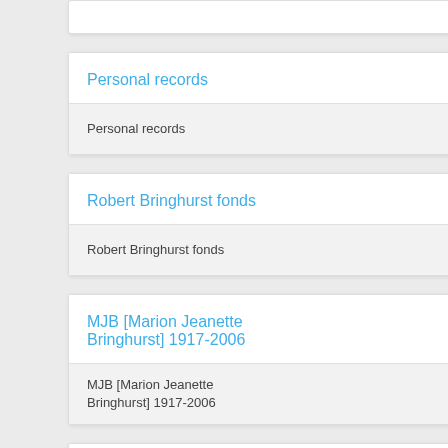Personal records
Robert Bringhurst fonds
MJB [Marion Jeanette Bringhurst] 1917-2006
G.H.B. [George Herber...